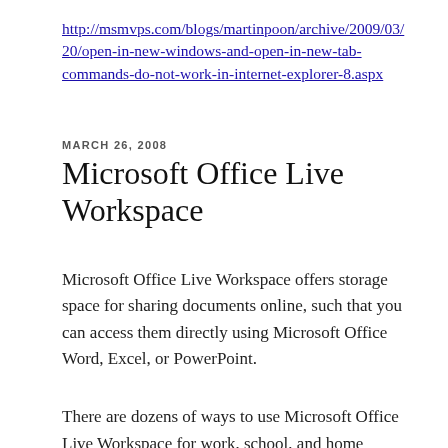http://msmvps.com/blogs/martinpoon/archive/2009/03/20/open-in-new-windows-and-open-in-new-tab-commands-do-not-work-in-internet-explorer-8.aspx
MARCH 26, 2008
Microsoft Office Live Workspace
Microsoft Office Live Workspace offers storage space for sharing documents online, such that you can access them directly using Microsoft Office Word, Excel, or PowerPoint.
There are dozens of ways to use Microsoft Office Live Workspace for work, school, and home projects! The documents can be saved and accessed from any computer. Feedbacks and/or comments can be gathered within a